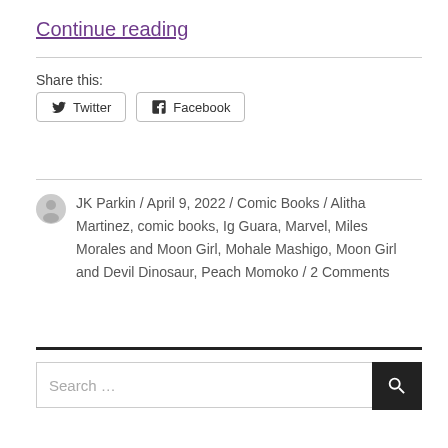Continue reading
Share this:
Twitter
Facebook
JK Parkin / April 9, 2022 / Comic Books / Alitha Martinez, comic books, Ig Guara, Marvel, Miles Morales and Moon Girl, Mohale Mashigo, Moon Girl and Devil Dinosaur, Peach Momoko / 2 Comments
Search ...